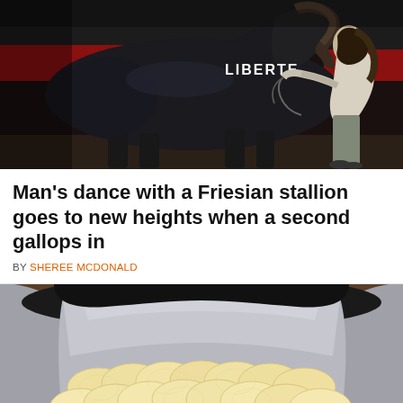[Figure (photo): A black Friesian stallion bowing its head toward a person in a white coat who is bending forward to meet it; the word LIBERTE is visible in the background on a red banner; circus or show arena setting]
Man's dance with a Friesian stallion goes to new heights when a second gallops in
BY SHEREE MCDONALD
[Figure (photo): An open metallic/foil bag filled with thinly sliced raw potato chips/crisps arranged in overlapping circles, on a wooden surface]
© Pawpulous   About Ads   Terms   Privacy   Do Not Sell My Info